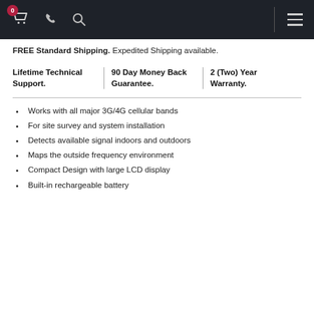Navigation bar with cart (0), phone, search icons and hamburger menu
FREE Standard Shipping. Expedited Shipping available.
Lifetime Technical Support. | 90 Day Money Back Guarantee. | 2 (Two) Year Warranty.
Works with all major 3G/4G cellular bands
For site survey and system installation
Detects available signal indoors and outdoors
Maps the outside frequency environment
Compact Design with large LCD display
Built-in rechargeable battery